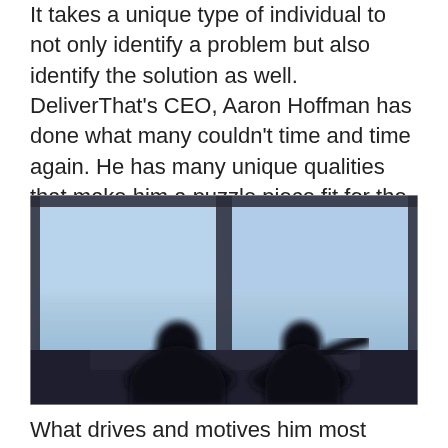It takes a unique type of individual to not only identify a problem but also identify the solution as well. DeliverThat's CEO, Aaron Hoffman has done what many couldn't time and time again. He has many unique qualities that make him a puzzle piece fit for the position he holds.
[Figure (photo): Two silhouetted figures sitting at a table in front of large floor-to-ceiling windows with a blue sky and ocean/water view in the background. The scene appears to be a meeting or conversation.]
What drives and motives him most likely